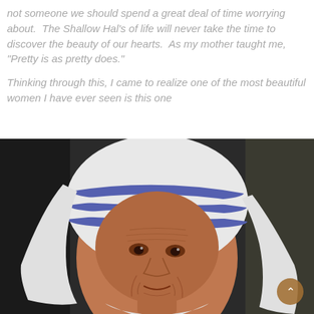not someone we should spend a great deal of time worrying about.  The Shallow Hal's of life will never take the time to discover the beauty of our hearts.  As my mother taught me, "Pretty is as pretty does."

Thinking through this, I came to realize one of the most beautiful women I have ever seen is this one
[Figure (photo): Close-up portrait photograph of an elderly woman wearing a white habit with blue stripes — consistent with Mother Teresa's distinctive religious dress. The woman has deeply wrinkled skin, dark eyes, and a gentle expression. The background is dark/olive. A gold circular scroll-up button with a caret icon is visible in the lower-right corner of the image.]